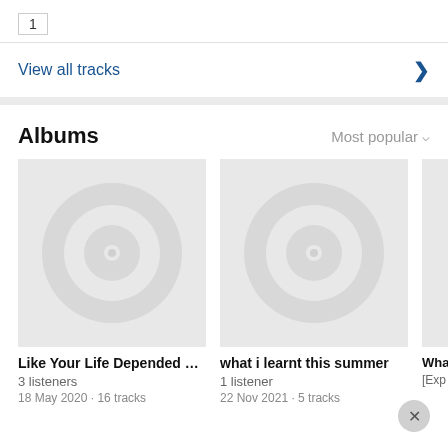1
View all tracks
Albums
Most popular
[Figure (illustration): Album artwork placeholder showing a grey square with a white vinyl record disc icon]
Like Your Life Depended on It
3 listeners
18 May 2020 · 16 tracks
[Figure (illustration): Album artwork placeholder showing a grey square with a white vinyl record disc icon]
what i learnt this summer
1 listener
22 Nov 2021 · 5 tracks
[Figure (illustration): Partially visible album artwork placeholder (cropped)]
Wha… [Ex…